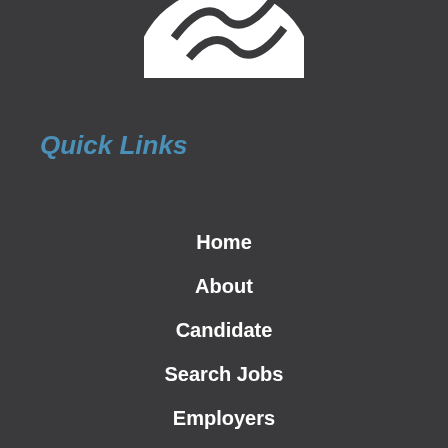[Figure (logo): Partial circular logo visible at top center of page, white on dark background]
Quick Links
Home
About
Candidate
Search Jobs
Employers
Services
Contact
Blog
Site Map